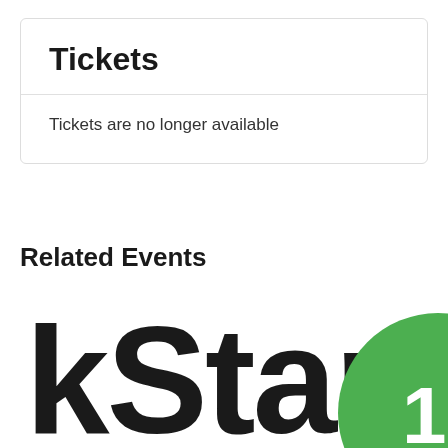Tickets
Tickets are no longer available
Related Events
[Figure (logo): Partial logo showing 'kStart' text in large bold dark font with a green circle element on the right side]